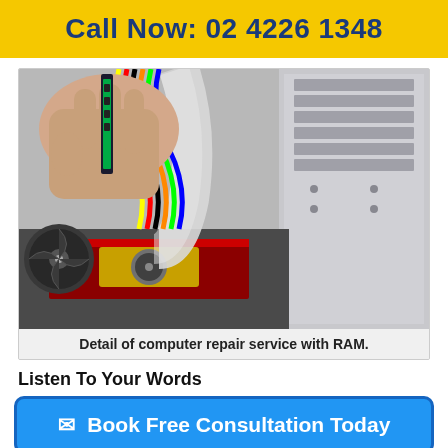Call Now: 02 4226 1348
[Figure (photo): A hand holding a RAM stick inside an open desktop computer case, showing colorful cables, a graphics card with fan, and a CPU fan.]
Detail of computer repair service with RAM.
Listen To Your Words
✉ Book Free Consultation Today
...